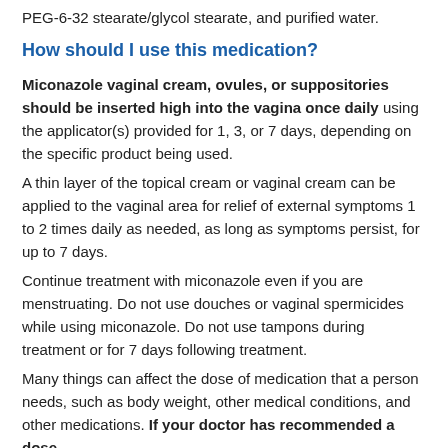PEG-6-32 stearate/glycol stearate, and purified water.
How should I use this medication?
Miconazole vaginal cream, ovules, or suppositories should be inserted high into the vagina once daily using the applicator(s) provided for 1, 3, or 7 days, depending on the specific product being used.
A thin layer of the topical cream or vaginal cream can be applied to the vaginal area for relief of external symptoms 1 to 2 times daily as needed, as long as symptoms persist, for up to 7 days.
Continue treatment with miconazole even if you are menstruating. Do not use douches or vaginal spermicides while using miconazole. Do not use tampons during treatment or for 7 days following treatment.
Many things can affect the dose of medication that a person needs, such as body weight, other medical conditions, and other medications. If your doctor has recommended a dose